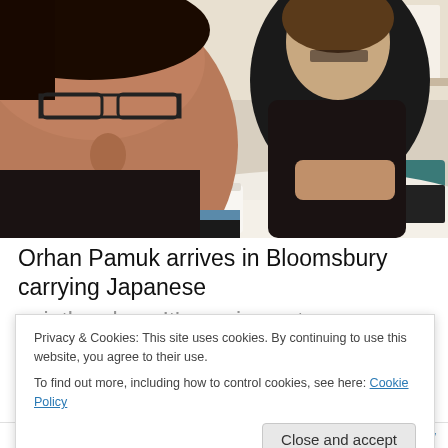[Figure (photo): Two men sitting at a round table with white tablecloth. Man on left is close to camera, wearing glasses and smiling. Man on right has longer hair and dark shirt. Table has mugs, a camera, and books on it.]
Orhan Pamuk arrives in Bloomsbury carrying Japanese paintbrushes. It's a crisp autumn afternoon and the 2006
Privacy & Cookies: This site uses cookies. By continuing to use this website, you agree to their use.
To find out more, including how to control cookies, see here: Cookie Policy
Close and accept
+ Follow